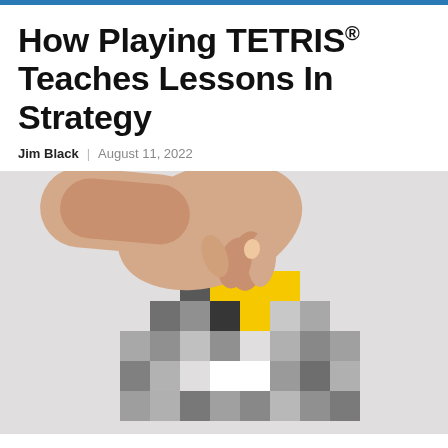How Playing TETRIS® Teaches Lessons In Strategy
Jim Black | August 11, 2022
[Figure (photo): A hand placing a yellow T-shaped Tetris piece onto a stack of grey interlocking block pieces arranged in a pixel-art style pattern on a white background.]